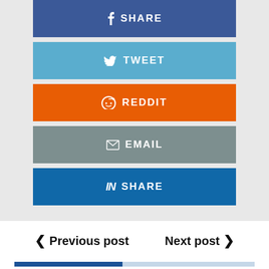[Figure (infographic): Social share buttons: Facebook SHARE (dark blue), Twitter TWEET (light blue), Reddit REDDIT (orange), Email EMAIL (gray), LinkedIn SHARE (blue)]
< Previous post   Next post >
[Figure (infographic): Advertisement section with search bar, two ad results: 1. TOP TECH STOCKS TO BUY NOW, 2. 10 BEST SMARTPHONES, labeled Ad | Cellphone Guru]